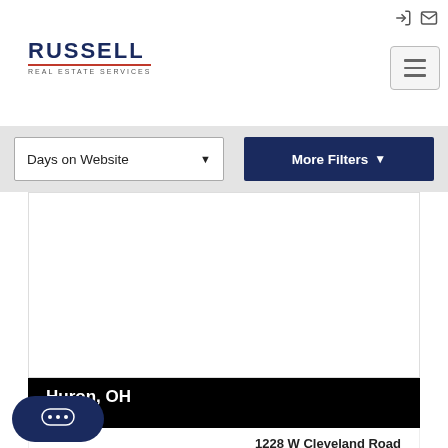[Figure (screenshot): Russell Real Estate Services logo with dark navy RUSSELL text, red underline, and small subtitle text REAL ESTATE SERVICES]
[Figure (screenshot): Hamburger menu button (three horizontal lines) in a rounded square border]
[Figure (screenshot): Days on Website dropdown filter and More Filters button on gray background filter bar]
[Figure (photo): Property listing photo area - white/blank image panel]
Huron, OH
$415K
1228 W Cleveland Road
Single Family
[Figure (screenshot): Dark navy oval chat button with three dots (ellipsis) speech bubble icon]